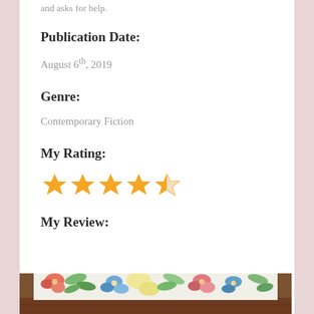and asks for help.
Publication Date:
August 6th, 2019
Genre:
Contemporary Fiction
My Rating:
[Figure (other): 4.5 star rating shown as 4 filled orange stars and 1 half-filled orange star]
My Review:
[Figure (photo): Bottom portion of a decorative floral fabric or book cover with colorful flower patterns in red, green, blue, and yellow on a light background, placed on a wooden surface]